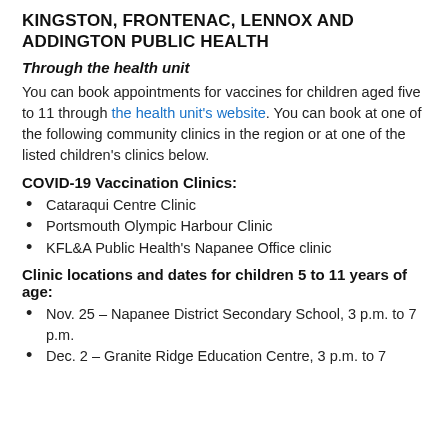KINGSTON, FRONTENAC, LENNOX AND ADDINGTON PUBLIC HEALTH
Through the health unit
You can book appointments for vaccines for children aged five to 11 through the health unit's website. You can book at one of the following community clinics in the region or at one of the listed children's clinics below.
COVID-19 Vaccination Clinics:
Cataraqui Centre Clinic
Portsmouth Olympic Harbour Clinic
KFL&A Public Health's Napanee Office clinic
Clinic locations and dates for children 5 to 11 years of age:
Nov. 25 – Napanee District Secondary School, 3 p.m. to 7 p.m.
Dec. 2 – Granite Ridge Education Centre, 3 p.m. to 7